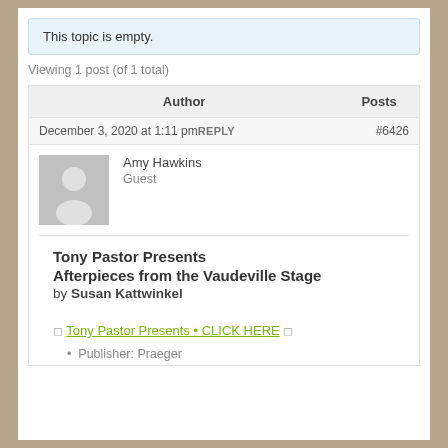This topic is empty.
Viewing 1 post (of 1 total)
| Author | Posts |
| --- | --- |
| December 3, 2020 at 1:11 pmREPLY | #6426 |
| Amy Hawkins
Guest |  |
| Tony Pastor Presents Afterpieces from the Vaudeville Stage by Susan Kattwinkel |  |
◻ Tony Pastor Presents • CLICK HERE ◻
Publisher: Praeger